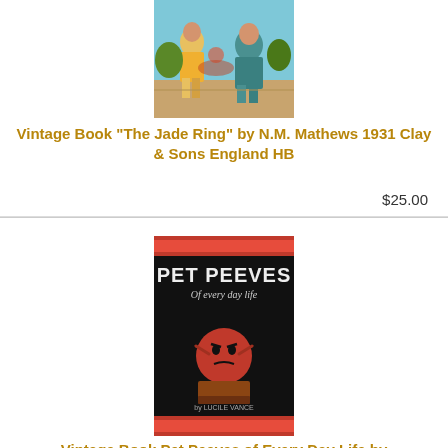[Figure (illustration): Cover of vintage book 'The Jade Ring' showing illustrated figures in colorful clothing]
Vintage Book "The Jade Ring" by N.M. Mathews 1931 Clay & Sons England HB
$25.00
[Figure (illustration): Cover of vintage book 'Pet Peeves of Every Day Life' by Lucile Vance, black background with red stripes and cartoon figure]
Vintage Book Pet Peeves of Every Day Life by